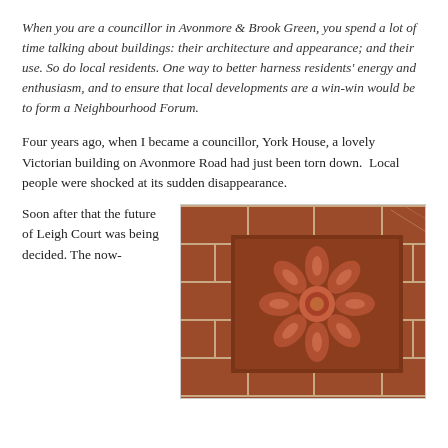When you are a councillor in Avonmore & Brook Green, you spend a lot of time talking about buildings: their architecture and appearance; and their use. So do local residents. One way to better harness residents' energy and enthusiasm, and to ensure that local developments are a win-win would be to form a Neighbourhood Forum.
Four years ago, when I became a councillor, York House, a lovely Victorian building on Avonmore Road had just been torn down.  Local people were shocked at its sudden disappearance.
Soon after that the future of Leigh Court was being decided. The now-
[Figure (photo): Close-up photograph of Victorian terracotta brick decorative panel featuring a flower/rosette motif carved in relief, set within a recessed square frame of red brick.]